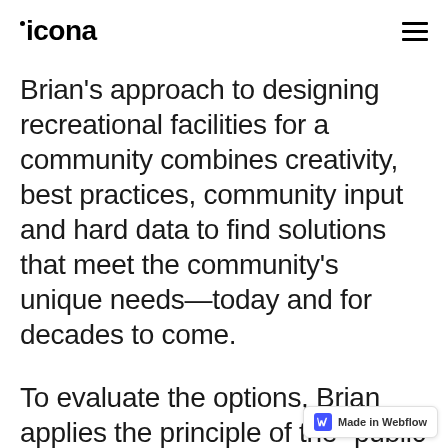icona
Brian's approach to designing recreational facilities for a community combines creativity, best practices, community input and hard data to find solutions that meet the community's unique needs—today and for decades to come.
To evaluate the options, Brian applies the principle of the "public